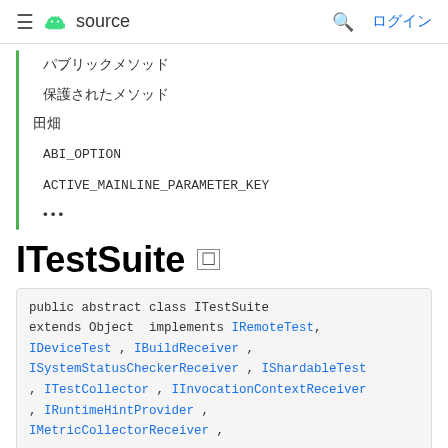≡  source  🔍  ログイン
パブリックメソッド
保護されたメソッド
田畑
ABI_OPTION
ACTIVE_MAINLINE_PARAMETER_KEY
•••
ITestSuite
public abstract class ITestSuite extends Object implements IRemoteTest, IDeviceTest , IBuildReceiver , ISystemStatusCheckerReceiver , IShardableTest , ITestCollector , IInvocationContextReceiver , IRuntimeHintProvider , IMetricCollectorReceiver ,